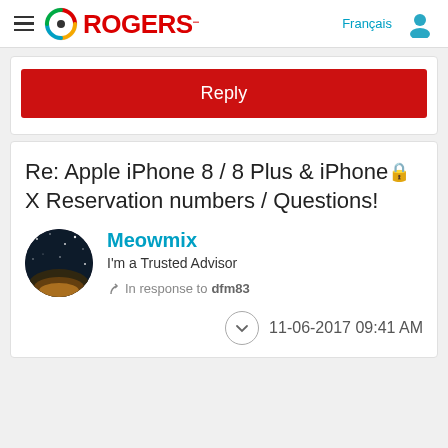Rogers - Français
Reply
Re: Apple iPhone 8 / 8 Plus & iPhone X Reservation numbers / Questions!
Meowmix
I'm a Trusted Advisor
In response to dfm83
11-06-2017 09:41 AM